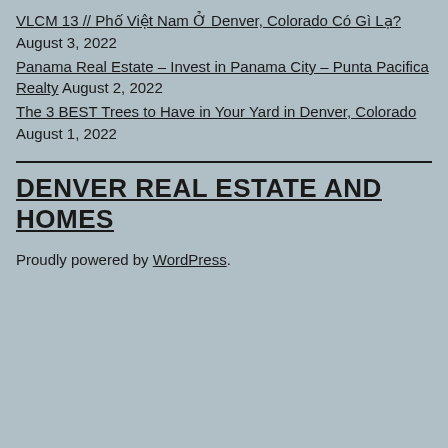VLCM 13 // Phố Việt Nam Ở Denver, Colorado Có Gì Lạ? August 3, 2022
Panama Real Estate – Invest in Panama City – Punta Pacifica Realty August 2, 2022
The 3 BEST Trees to Have in Your Yard in Denver, Colorado August 1, 2022
DENVER REAL ESTATE AND HOMES
Proudly powered by WordPress.